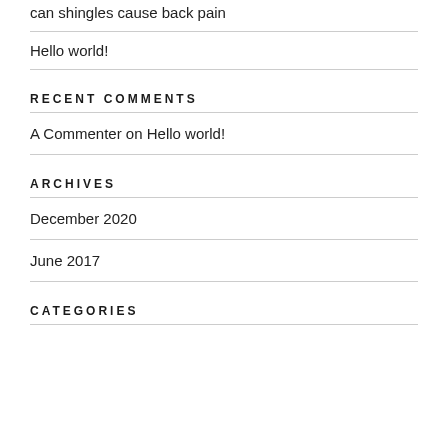can shingles cause back pain
Hello world!
RECENT COMMENTS
A Commenter on Hello world!
ARCHIVES
December 2020
June 2017
CATEGORIES